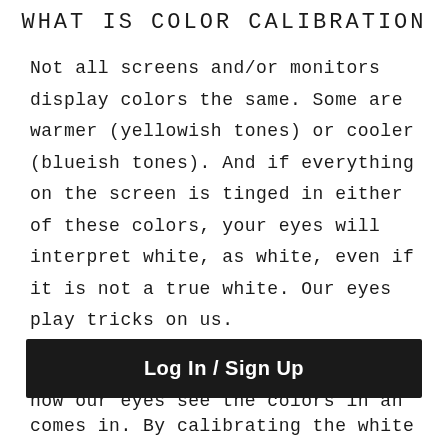WHAT IS COLOR CALIBRATION
Not all screens and/or monitors display colors the same. Some are warmer (yellowish tones) or cooler (blueish tones). And if everything on the screen is tinged in either of these colors, your eyes will interpret white, as white, even if it is not a true white. Our eyes play tricks on us.
So a warm or cool monitor, changes how our eyes see the colors in an
[Figure (other): Log In / Sign Up button overlay bar in dark/black background]
comes in. By calibrating the white